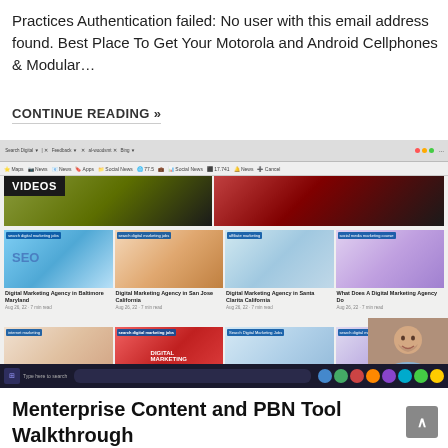Practices Authentication failed: No user with this email address found. Best Place To Get Your Motorola and Android Cellphones & Modular…
CONTINUE READING »
[Figure (screenshot): Screenshot of a browser window showing a video/blog page with 'VIDEOS' badge, thumbnails for Digital Marketing Agency articles in various cities, and a person visible in lower-right corner overlay.]
Menterprise Content and PBN Tool Walkthrough